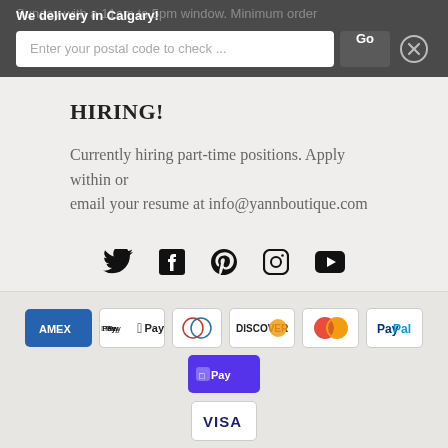We delivery in Calgary!
Sunday with a 11am to 5pm window. Minimum order
Enter your postal code to check ...
HIRING!
Currently hiring part-time positions. Apply within or email your resume at info@yannboutique.com
[Figure (illustration): Social media icons: Twitter, Facebook, Pinterest, Instagram, YouTube]
[Figure (illustration): Payment method icons: American Express, Apple Pay, Diners Club, Discover, Mastercard, PayPal, Shop Pay, Visa]
© 2022, Yann Haute Patisserie ltd. Powered by Shopify